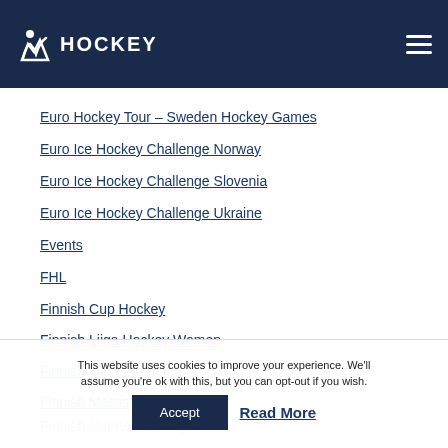HOCKEY
Euro Hockey Tour – Sweden Hockey Games
Euro Ice Hockey Challenge Norway
Euro Ice Hockey Challenge Slovenia
Euro Ice Hockey Challenge Ukraine
Events
FHL
Finnish Cup Hockey
Finnish Liiga Hockey Women
Finnish Liiga Women
Finnish Mestis
Finnish Nuorten SM-liiga
Finnish SM-liiga
This website uses cookies to improve your experience. We'll assume you're ok with this, but you can opt-out if you wish.
Accept
Read More